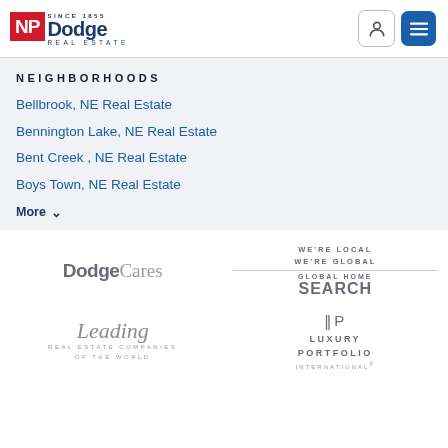[Figure (logo): NP Dodge Real Estate logo with red NP block and blue Dodge text, 'Since 1855' tagline and 'Real Estate' underneath]
NEIGHBORHOODS
Bellbrook, NE Real Estate
Bennington Lake, NE Real Estate
Bent Creek , NE Real Estate
Boys Town, NE Real Estate
More
[Figure (logo): DodgeCares logo in gray text with a heart symbol inside the 'o']
[Figure (logo): We're Local We're Global - Global Home Search text logo]
[Figure (logo): Leading Real Estate Companies of the World logo in italic script]
[Figure (logo): Luxury Portfolio International logo with LP bracket icon]